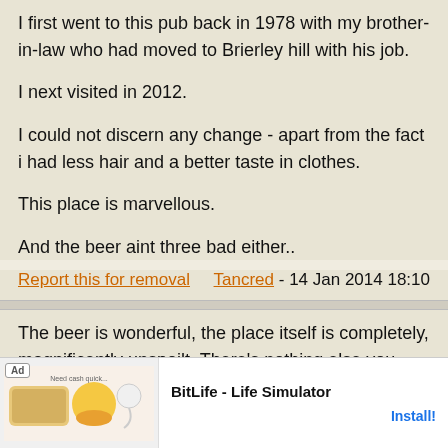I first went to this pub back in 1978 with my brother-in-law who had moved to Brierley hill with his job.

I next visited in 2012.

I could not discern any change - apart from the fact i had less hair and a better taste in clothes.

This place is marvellous.

And the beer aint three bad either..
Report this for removal    Tancred - 14 Jan 2014 18:10
The beer is wonderful, the place itself is completely, magnificently unspoilt. There's nothing else you need to say about it - this is one of the great authentic British drinking experiences. If you have any interest in beer or pubs, it's a place...
Report...    13 22:57
[Figure (screenshot): Advertisement banner for BitLife - Life Simulator app with colorful game graphics and Install! button]